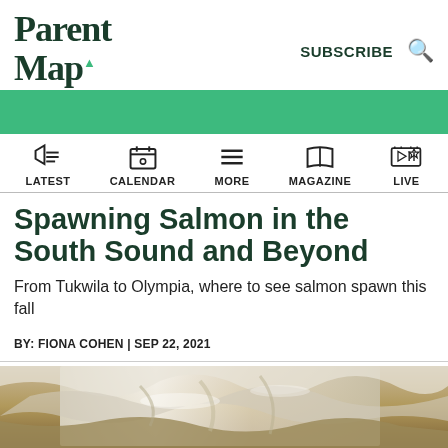ParentMap
SUBSCRIBE
LATEST | CALENDAR | MORE | MAGAZINE | LIVE
Spawning Salmon in the South Sound and Beyond
From Tukwila to Olympia, where to see salmon spawn this fall
BY: FIONA COHEN | SEP 22, 2021
[Figure (photo): Photo of spawning salmon in rushing water, showing fish and water cascading over rocks]